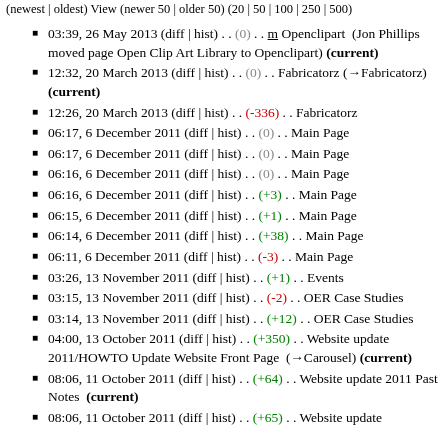(newest | oldest) View (newer 50 | older 50) (20 | 50 | 100 | 250 | 500)
03:39, 26 May 2013 (diff | hist) . . (0) . . m Openclipart (Jon Phillips moved page Open Clip Art Library to Openclipart) (current)
12:32, 20 March 2013 (diff | hist) . . (0) . . Fabricatorz (→Fabricatorz) (current)
12:26, 20 March 2013 (diff | hist) . . (-336) . . Fabricatorz
06:17, 6 December 2011 (diff | hist) . . (0) . . Main Page
06:17, 6 December 2011 (diff | hist) . . (0) . . Main Page
06:16, 6 December 2011 (diff | hist) . . (0) . . Main Page
06:16, 6 December 2011 (diff | hist) . . (+3) . . Main Page
06:15, 6 December 2011 (diff | hist) . . (+1) . . Main Page
06:14, 6 December 2011 (diff | hist) . . (+38) . . Main Page
06:11, 6 December 2011 (diff | hist) . . (-3) . . Main Page
03:26, 13 November 2011 (diff | hist) . . (+1) . . Events
03:15, 13 November 2011 (diff | hist) . . (-2) . . OER Case Studies
03:14, 13 November 2011 (diff | hist) . . (+12) . . OER Case Studies
04:00, 13 October 2011 (diff | hist) . . (+350) . . Website update 2011/HOWTO Update Website Front Page (→Carousel) (current)
08:06, 11 October 2011 (diff | hist) . . (+64) . . Website update 2011 Past Notes (current)
08:06, 11 October 2011 (diff | hist) . . (+65) . . Website update